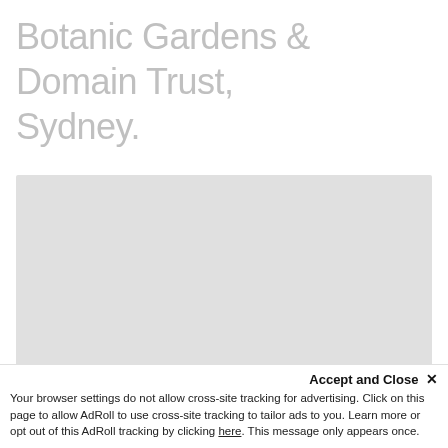Botanic Gardens & Domain Trust, Sydney.
[Figure (other): Large light gray placeholder rectangle, likely an image or map area that failed to load.]
Accept and Close ✕
Your browser settings do not allow cross-site tracking for advertising. Click on this page to allow AdRoll to use cross-site tracking to tailor ads to you. Learn more or opt out of this AdRoll tracking by clicking here. This message only appears once.